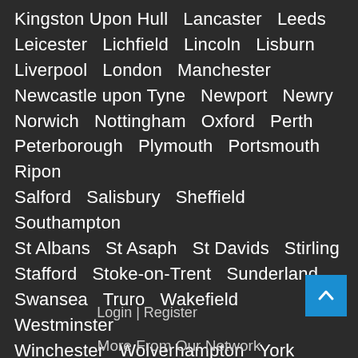Kingston Upon Hull   Lancaster   Leeds   Leicester   Lichfield   Lincoln   Lisburn   Liverpool   London   Manchester   Newcastle upon Tyne   Newport   Newry   Norwich   Nottingham   Oxford   Perth   Peterborough   Plymouth   Portsmouth   Ripon   Salford   Salisbury   Sheffield   Southampton   St Albans   St Asaph   St Davids   Stirling   Stafford   Stoke-on-Trent   Sunderland   Swansea   Truro   Wakefield   Westminster   Winchester   Wolverhampton   York
Login | Register
More From Our Network